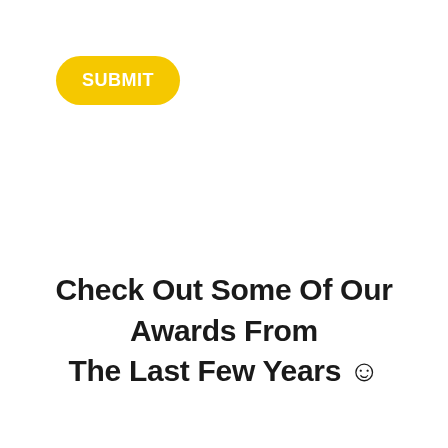[Figure (other): Yellow rounded rectangle button with white bold text reading SUBMIT]
Check Out Some Of Our Awards From The Last Few Years ☺